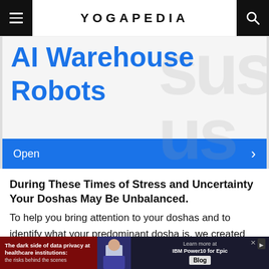YOGAPEDIA
[Figure (screenshot): Advertisement banner showing blue bold text 'AI Warehouse Robots' with a blue 'Open' button bar at bottom]
During These Times of Stress and Uncertainty Your Doshas May Be Unbalanced.
To help you bring attention to your doshas and to identify what your predominant dosha is, we created the following quiz.
Try not to stress over every question, but simply answer
[Figure (screenshot): Bottom advertisement banner: 'The dark side of data privacy at healthcare institutions: the risks behind the scenes' with IBM Power10 Blog link]